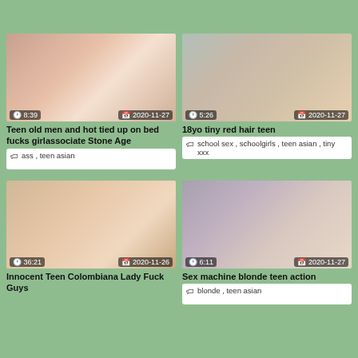My Boyfriend , teen asian
[Figure (photo): Teen on bed, duration 8:39, date 2020-11-27]
Teen old men and hot tied up on bed fucks girlassociate Stone Age
ass , teen asian
[Figure (photo): Teen with man in glasses, duration 5:26, date 2020-11-27]
18yo tiny red hair teen
school sex , schoolgirls , teen asian , tiny xxx
[Figure (photo): Blonde teen closeup, duration 36:21, date 2020-11-26]
Innocent Teen Colombiana Lady Fuck Guys
[Figure (photo): Blonde teen, duration 6:11, date 2020-11-27]
Sex machine blonde teen action
blonde , teen asian